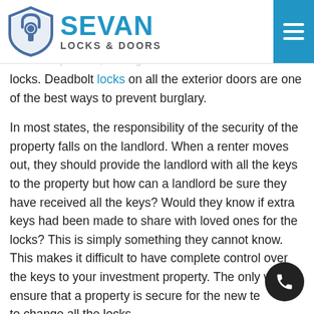Sevan Locks & Doors
Renters are much more likely to experience a home invasion than an average homeowner. In this case, renters and landlords need to work together to make sure a rental is as secure as possible, starting with the locks. Deadbolt locks on all the exterior doors are one of the best ways to prevent burglary.
In most states, the responsibility of the security of the property falls on the landlord. When a renter moves out, they should provide the landlord with all the keys to the property but how can a landlord be sure they have received all the keys? Would they know if extra keys had been made to share with loved ones for the locks? This is simply something they cannot know. This makes it difficult to have complete control over the keys to your investment property. The only way to ensure that a property is secure for the new tenant is to change all the locks.